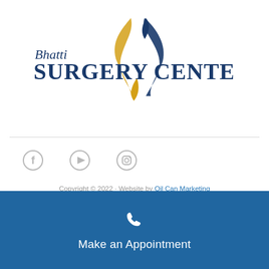[Figure (logo): Bhatti Surgery Center logo with stylized blue and gold flame/swirl graphic and text 'Bhatti SURGERY CENTER']
[Figure (illustration): Social media icons: Facebook, YouTube, Instagram in gray]
Copyright © 2022 · Website by Oil Can Marketing
[Figure (illustration): Phone icon in white on blue background with label 'Make an Appointment']
Make an Appointment